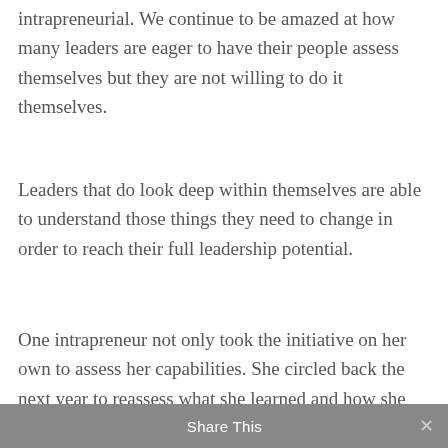intrapreneurial. We continue to be amazed at how many leaders are eager to have their people assess themselves but they are not willing to do it themselves.
Leaders that do look deep within themselves are able to understand those things they need to change in order to reach their full leadership potential.
One intrapreneur not only took the initiative on her own to assess her capabilities. She circled back the next year to reassess what she learned and how she had improved. She showed a forty two percent improvement in
Share This